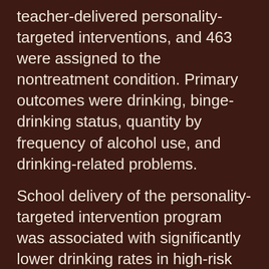teacher-delivered personality-targeted interventions, and 463 were assigned to the nontreatment condition. Primary outcomes were drinking, binge-drinking status, quantity by frequency of alcohol use, and drinking-related problems.
School delivery of the personality-targeted intervention program was associated with significantly lower drinking rates in high-risk students at 6-month follow-up (odds ratio, 0.6), indicating a 40% decreased risk of alcohol consumption in the intervention group. Receiving an intervention also predicted significantly lower binge-drinking rates in students who reported alcohol use at baseline (odds ratio, 0.45), indicating a 55% decreased risk of binge-drinking in this group compared